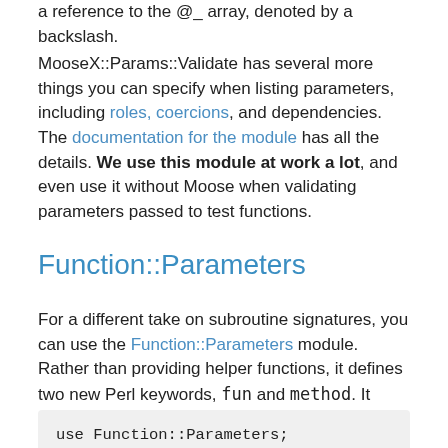a reference to the @_ array, denoted by a backslash.
MooseX::Params::Validate has several more things you can specify when listing parameters, including roles, coercions, and dependencies. The documentation for the module has all the details. We use this module at work a lot, and even use it without Moose when validating parameters passed to test functions.
Function::Parameters
For a different take on subroutine signatures, you can use the Function::Parameters module. Rather than providing helper functions, it defines two new Perl keywords, fun and method. It looks like this:
use Function::Parameters;